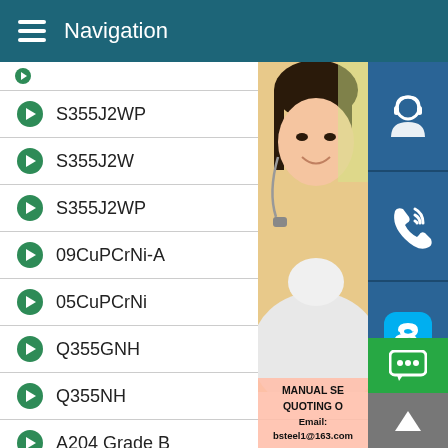Navigation
S355J2WP
S355J2W
S355J2WP
09CuPCrNi-A
05CuPCrNi
Q355GNH
Q355NH
A204 Grade B
A285 Grade C
A387 Grade 11 Class1
CA387 Grade 11 Class2
[Figure (photo): Customer service woman with headset, overlaid with contact icons and text showing MANUAL SERVICE, QUOTING ORDER, Email: bsteel1@163.com]